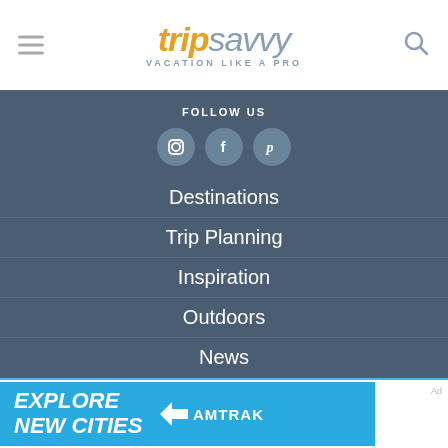[Figure (logo): TripSavvy logo with hamburger menu on left and search icon on right. Logo shows 'trip' in gold italic bold and 'savvy' in blue-gray italic. Tagline: VACATION LIKE A PRO]
FOLLOW US
[Figure (infographic): Three social media icons in blue-gray circles: Instagram, Facebook, Pinterest]
Destinations
Trip Planning
Inspiration
Outdoors
News
[Figure (photo): Amtrak advertisement banner: 'EXPLORE NEW CITIES' in white bold italic text on light blue background with Amtrak logo]